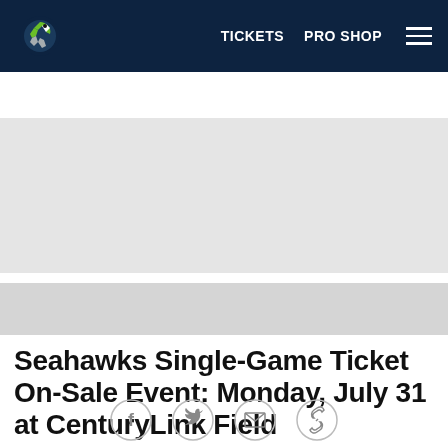TICKETS   PRO SHOP
News Home   Draft   Round-Up   Mailbag   Fantasy Insider   Roste
[Figure (other): Grey advertisement banner area 1]
[Figure (other): Grey advertisement banner area 2]
Seahawks Single-Game Ticket On-Sale Event: Monday, July 31 at CenturyLink Field
Single-game tickets for Seahawks home games in 2017 will go on sale at 9 a.m. on Monday, July 31 at CenturyLink Field.
[Figure (other): Social sharing icons: Facebook, Twitter, Email, Link]